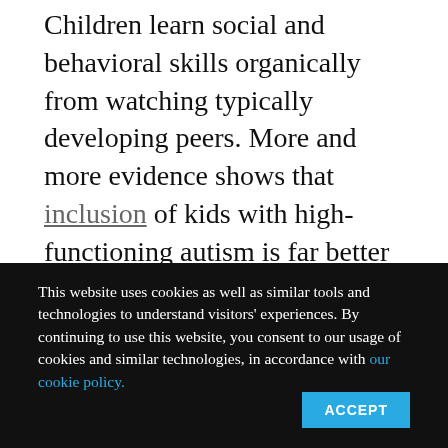Children learn social and behavioral skills organically from watching typically developing peers. More and more evidence shows that inclusion of kids with high-functioning autism is far better than isolating them in a special-ed silo.
My son was lucky enough to have a band director who not only included him and overlooked his social gaffes, but who also held
This website uses cookies as well as similar tools and technologies to understand visitors' experiences. By continuing to use this website, you consent to our usage of cookies and similar technologies, in accordance with our cookie policy.